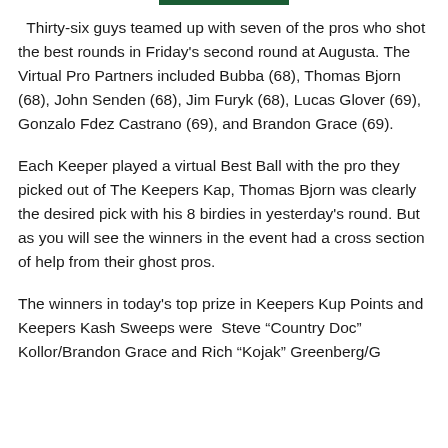Thirty-six guys teamed up with seven of the pros who shot the best rounds in Friday's second round at Augusta. The Virtual Pro Partners included Bubba (68), Thomas Bjorn (68), John Senden (68), Jim Furyk (68), Lucas Glover (69), Gonzalo Fdez Castrano (69), and Brandon Grace (69).
Each Keeper played a virtual Best Ball with the pro they picked out of The Keepers Kap, Thomas Bjorn was clearly the desired pick with his 8 birdies in yesterday's round. But as you will see the winners in the event had a cross section of help from their ghost pros.
The winners in today's top prize in Keepers Kup Points and Keepers Kash Sweeps were  Steve “Country Doc” Kollor/Brandon Grace and Rich “Kojak” Greenberg/G